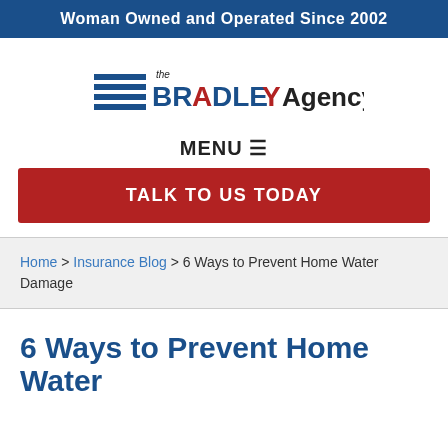Woman Owned and Operated Since 2002
[Figure (logo): The Bradley Agency logo with horizontal blue lines and red/blue text]
MENU ☰
TALK TO US TODAY
Home > Insurance Blog > 6 Ways to Prevent Home Water Damage
6 Ways to Prevent Home Water